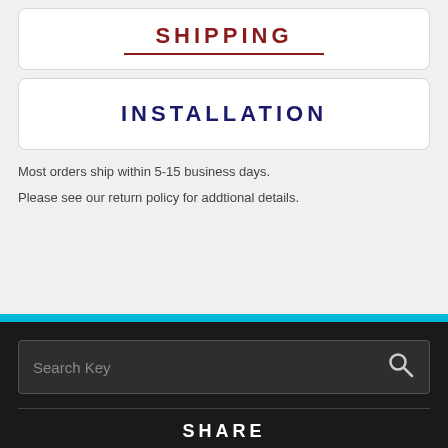SHIPPING
INSTALLATION
Most orders ship within 5-15 business days.
Please see our return policy for addtional details.
[Figure (screenshot): Search bar with placeholder text 'Search Key' and a search icon on the right]
SHARE